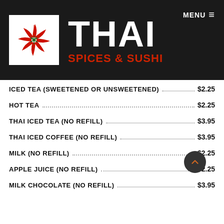[Figure (logo): Thai Spices & Sushi restaurant logo with red chili pepper pinwheel and text]
ICED TEA (SWEETENED OR UNSWEETENED) $2.25
HOT TEA $2.25
THAI ICED TEA (NO REFILL) $3.95
THAI ICED COFFEE (NO REFILL) $3.95
MILK (NO REFILL) $2.25
APPLE JUICE (NO REFILL) $2.25
MILK CHOCOLATE (NO REFILL) $3.95